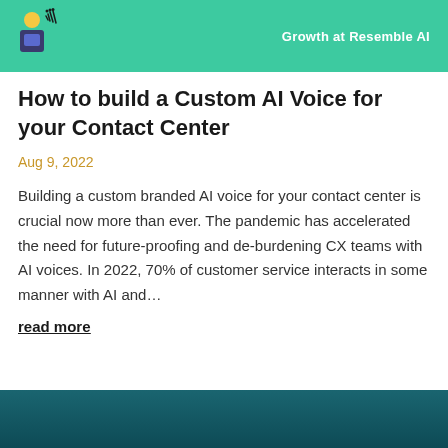Growth at Resemble AI
How to build a Custom AI Voice for your Contact Center
Aug 9, 2022
Building a custom branded AI voice for your contact center is crucial now more than ever. The pandemic has accelerated the need for future-proofing and de-burdening CX teams with AI voices. In 2022, 70% of customer service interacts in some manner with AI and…
read more
[Figure (photo): Teal/dark teal banner image at the bottom of the page, partially visible, appears to show a person or scene]